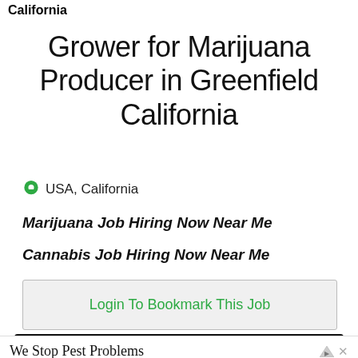California
Grower for Marijuana Producer in Greenfield California
USA, California
Marijuana Job Hiring Now Near Me
Cannabis Job Hiring Now Near Me
Login To Bookmark This Job
[Figure (other): Marijuana Jobs Cannabis Careers banner/logo ad in dark background]
[Figure (other): Terminix advertisement overlay: We Stop Pest Problems, We Are Your Ultimate Pest Solution. We Protect Your Home From Unwanted Pests. Terminix® Pest Control, OPEN button]